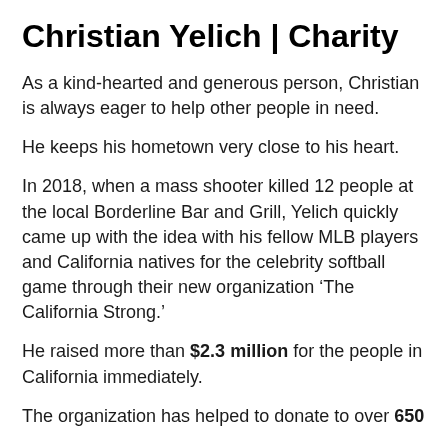Christian Yelich | Charity
As a kind-hearted and generous person, Christian is always eager to help other people in need.
He keeps his hometown very close to his heart.
In 2018, when a mass shooter killed 12 people at the local Borderline Bar and Grill, Yelich quickly came up with the idea with his fellow MLB players and California natives for the celebrity softball game through their new organization ‘The California Strong.’
He raised more than $2.3 million for the people in California immediately.
The organization has helped to donate to over 650